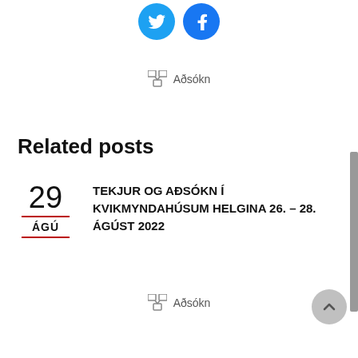[Figure (logo): Twitter and Facebook social share icon buttons (blue circles)]
Aðsókn
Related posts
29
ÁGÚ
TEKJUR OG AÐSÓKN Í KVIKMYNDAHÚSUM HELGINA 26. – 28. ÁGÚST 2022
Aðsókn